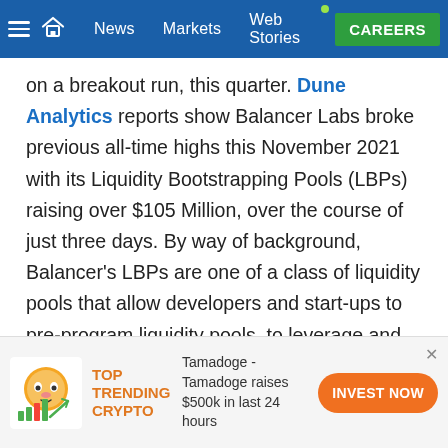News | Markets | Web Stories | CAREERS
on a breakout run, this quarter. Dune Analytics reports show Balancer Labs broke previous all-time highs this November 2021 with its Liquidity Bootstrapping Pools (LBPs) raising over $105 Million, over the course of just three days. By way of background, Balancer’s LBPs are one of a class of liquidity pools that allow developers and start-ups to pre-program liquidity pools, to leverage and fund their ventures on their terms, while also offering pre-programmed rights, benefits and swap fees for
[Figure (infographic): Advertisement banner: TOP TRENDING CRYPTO — Tamadoge raises $500k in last 24 hours — INVEST NOW button]